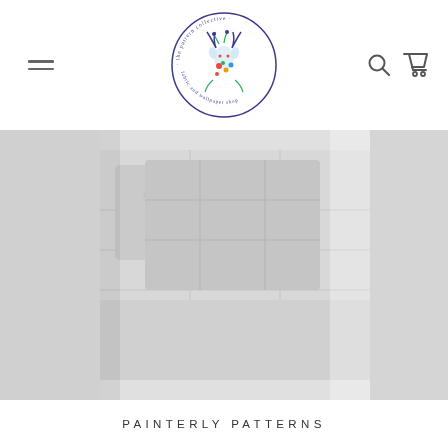The Pattern Collective — fabric and wallpaper shop
[Figure (photo): A light grey room interior showing a bed with pillows, bedding with a subtle grid/plaid pattern, photographed in soft white light]
PAINTERLY PATTERNS